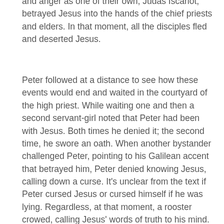and anger as one of their own, Judas Iscariot, betrayed Jesus into the hands of the chief priests and elders. In that moment, all the disciples fled and deserted Jesus.
Peter followed at a distance to see how these events would end and waited in the courtyard of the high priest. While waiting one and then a second servant-girl noted that Peter had been with Jesus. Both times he denied it; the second time, he swore an oath. When another bystander challenged Peter, pointing to his Galilean accent that betrayed him, Peter denied knowing Jesus, calling down a curse. It's unclear from the text if Peter cursed Jesus or cursed himself if he was lying. Regardless, at that moment, a rooster crowed, calling Jesus' words of truth to his mind. Faced with the realization that Jesus had indeed been right in all that he said and stinging from the hurtful truth, Peter left and bitterly wept. (Matt 26:69-75)